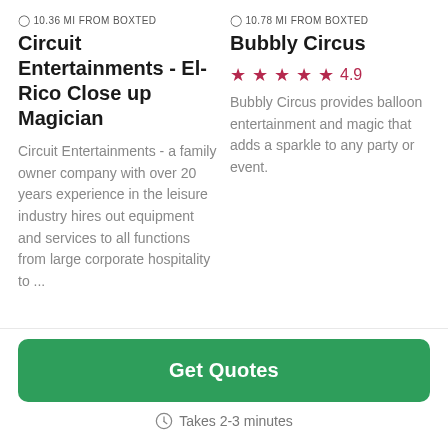10.36 MI FROM BOXTED
Circuit Entertainments - El-Rico Close up Magician
Circuit Entertainments - a family owner company with over 20 years experience in the leisure industry hires out equipment and services to all functions from large corporate hospitality to ...
10.78 MI FROM BOXTED
Bubbly Circus
4.9
Bubbly Circus provides balloon entertainment and magic that adds a sparkle to any party or event.
Get Quotes
Takes 2-3 minutes